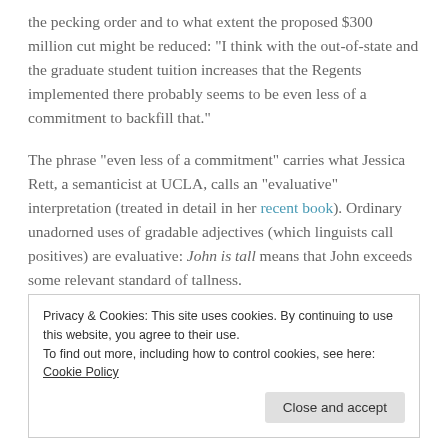the pecking order and to what extent the proposed $300 million cut might be reduced: “I think with the out-of-state and the graduate student tuition increases that the Regents implemented there probably seems to be even less of a commitment to backfill that.”
The phrase “even less of a commitment” carries what Jessica Rett, a semanticist at UCLA, calls an “evaluative” interpretation (treated in detail in her recent book). Ordinary unadorned uses of gradable adjectives (which linguists call positives) are evaluative: John is tall means that John exceeds some relevant standard of tallness.
Privacy & Cookies: This site uses cookies. By continuing to use this website, you agree to their use.
To find out more, including how to control cookies, see here: Cookie Policy